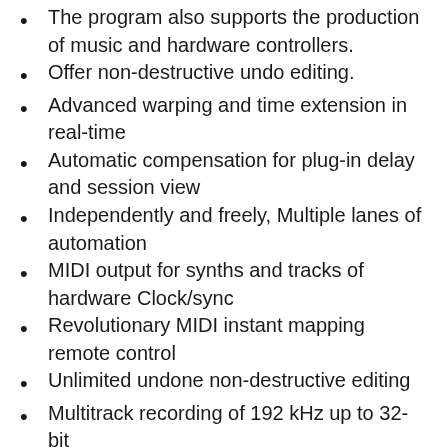The program also supports the production of music and hardware controllers.
Offer non-destructive undo editing.
Advanced warping and time extension in real-time
Automatic compensation for plug-in delay and session view
Independently and freely, Multiple lanes of automation
MIDI output for synths and tracks of hardware Clock/sync
Revolutionary MIDI instant mapping remote control
Unlimited undone non-destructive editing
Multitrack recording of 192 kHz up to 32-bit
Unlimited undone non-destructive editing
Powerful software and hardware sequence MIDI
ReWire, change of time signature, and track freeze